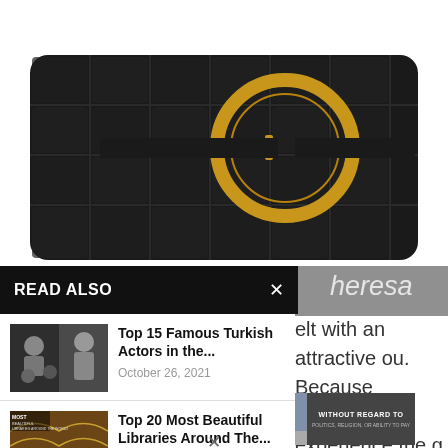[Figure (photo): Black woven leather handbag/clutch with large circular gold buckle, displayed on white background]
heresa
READ ALSO
[Figure (photo): Thumbnail showing multiple famous Turkish actors collage]
Top 15 Famous Turkish Actors in the...
October 26, 2021
elt with an attractive ou. Because machines will experience the g this unique belt
[Figure (photo): Thumbnail showing Most Beautiful Libraries Around The World book cover with ornate library interior]
Top 20 Most Beautiful Libraries Around The...
October 19, 2021
[Figure (photo): Advertisement image showing airplane cargo loading with colorful freight containers. Text overlay reads WITHOUT REGARD TO POLITICS, RELIGION, OR ABILITY TO PAY]
×